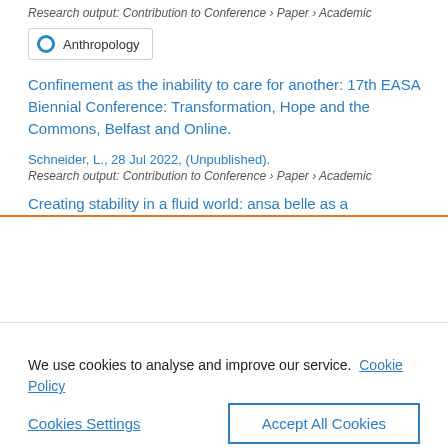Research output: Contribution to Conference › Paper › Academic
Anthropology
Confinement as the inability to care for another: 17th EASA Biennial Conference: Transformation, Hope and the Commons, Belfast and Online.
Schneider, L., 28 Jul 2022, (Unpublished).
Research output: Contribution to Conference › Paper › Academic
Creating stability in a fluid world: ansa belle as a
We use cookies to analyse and improve our service. Cookie Policy
Cookies Settings
Accept All Cookies